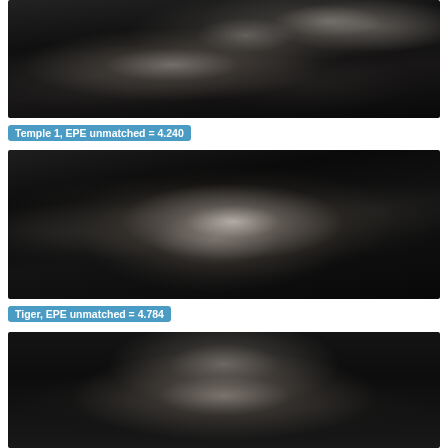[Figure (photo): Grayscale optical flow error visualization labeled Temple 1 showing abstract fluid-like shapes and figures against dark background]
Temple 1, EPE unmatched = 4.240
[Figure (photo): Grayscale optical flow error visualization labeled Tiger showing abstract fluid creature-like shapes against dark background]
Tiger, EPE unmatched = 4.784
[Figure (photo): Grayscale optical flow error visualization showing a human head/face silhouette against dark background, partially visible]